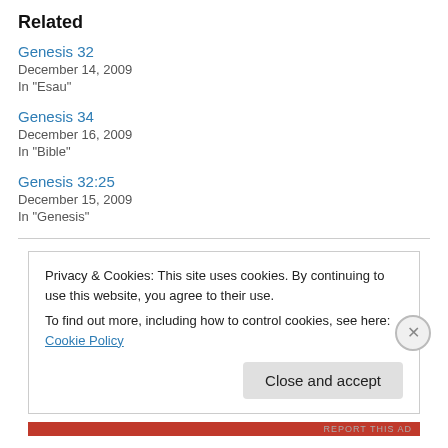Related
Genesis 32
December 14, 2009
In "Esau"
Genesis 34
December 16, 2009
In "Bible"
Genesis 32:25
December 15, 2009
In "Genesis"
Privacy & Cookies: This site uses cookies. By continuing to use this website, you agree to their use.
To find out more, including how to control cookies, see here: Cookie Policy
Close and accept